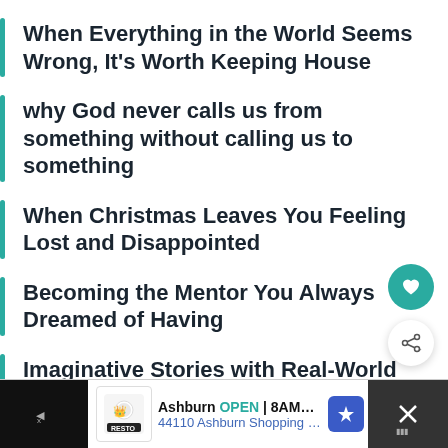When Everything in the World Seems Wrong, It's Worth Keeping House
why God never calls us from something without calling us to something
When Christmas Leaves You Feeling Lost and Disappointed
Becoming the Mentor You Always Dreamed of Having
Imaginative Stories with Real-World Truths
[Figure (other): Advertisement bar: Ashburn OPEN 8AM-10PM, 44110 Ashburn Shopping P...]